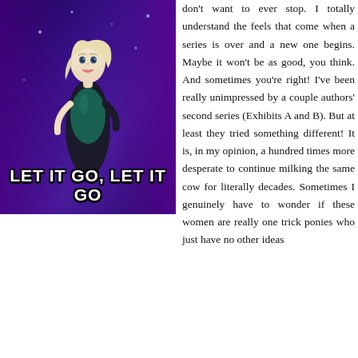[Figure (illustration): Screenshot from the movie Frozen showing the character Elsa in her blue dress against a purple/blue background, with the text 'LET IT GO, LET IT GO' displayed at the bottom of the image in large white bold letters.]
don't want to ever stop. I totally understand the feels that come when a series is over and a new one begins. Maybe it won't be as good, you think. And sometimes you're right! I've been really unimpressed by a couple authors' second series (Exhibits A and B). But at least they tried something different! It is, in my opinion, a hundred times more desperate to continue milking the same cow for literally decades. Sometimes I genuinely have to wonder if these women are really one trick ponies who just have no other ideas